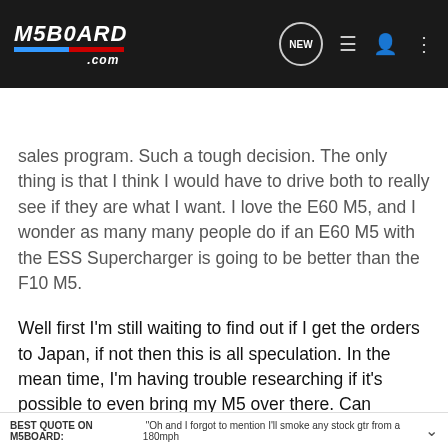[Figure (logo): M5BOARD.COM logo with blue and red stripes on dark background, with navigation icons (NEW, list, user, dots)]
Search Community
sales program. Such a tough decision. The only thing is that I think I would have to drive both to really see if they are what I want. I love the E60 M5, and I wonder as many many people do if an E60 M5 with the ESS Supercharger is going to be better than the F10 M5.
Well first I'm still waiting to find out if I get the orders to Japan, if not then this is all speculation. In the mean time, I'm having trouble researching if it's possible to even bring my M5 over there. Can anyone on the board help me find some info on exact criteria for bringing a US Spec car over there. Thanks guys!
BEST QUOTE ON M5BOARD: "Oh and I forgot to mention I'll smoke any stock gtr from a 180mph